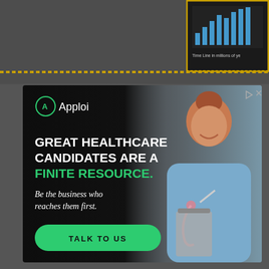[Figure (screenshot): Top portion of a webpage with dark gray background, a gold-bordered box in the top-right showing a timeline chart with text 'Time Line in millions of ye...']
[Figure (infographic): Apploi healthcare recruitment advertisement banner. Dark background on left with Apploi logo, headline text 'GREAT HEALTHCARE CANDIDATES ARE A FINITE RESOURCE.', subtext 'Be the business who reaches them first.', green 'TALK TO US' button. Right side shows photo of smiling female nurse/healthcare worker in blue scrubs with stethoscope and clipboard.]
GREAT HEALTHCARE CANDIDATES ARE A FINITE RESOURCE.
Be the business who reaches them first.
TALK TO US